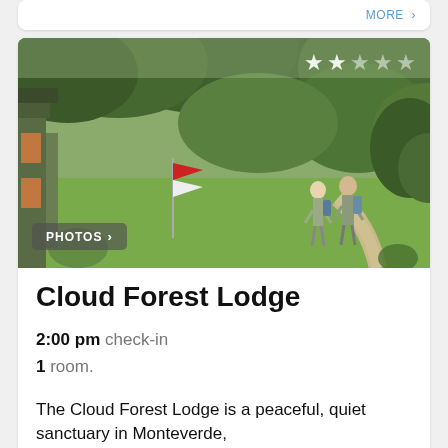[Figure (photo): Cloud Forest Lodge exterior with guests walking on a path surrounded by lush green forest and lodge buildings. Stars overlay in top right corner. PHOTOS button in bottom left.]
Cloud Forest Lodge
2:00 pm check-in
1 room.
The Cloud Forest Lodge is a peaceful, quiet sanctuary in Monteverde,